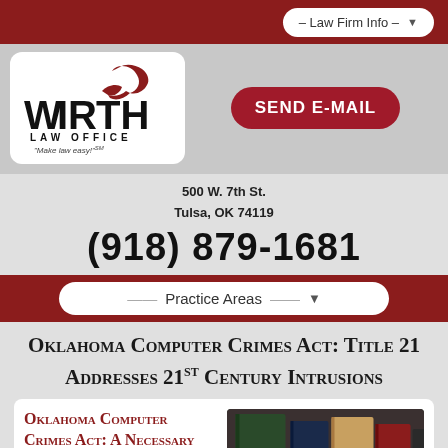– Law Firm Info –
[Figure (logo): Wirth Law Office logo with shark graphic and tagline 'Make law easy!']
SEND E-MAIL
500 W. 7th St.
Tulsa, OK 74119
(918) 879-1681
— Practice Areas —
Oklahoma Computer Crimes Act: Title 21 Addresses 21st Century Intrusions
Oklahoma Computer Crimes Act: A Necessary Solution
Wherever you find computers, you will
[Figure (photo): Law books on a shelf with 'LAW' text visible on spine, with 'COMPUTER' overlay text at bottom]